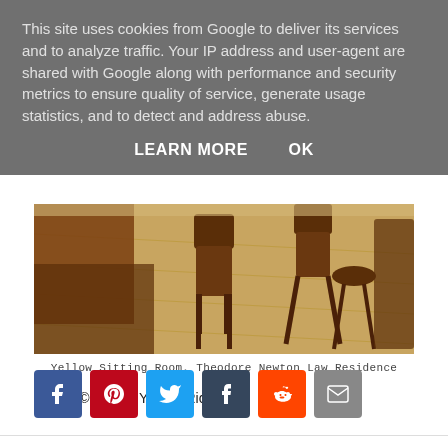This site uses cookies from Google to deliver its services and to analyze traffic. Your IP address and user-agent are shared with Google along with performance and security metrics to ensure quality of service, generate usage statistics, and to detect and address abuse.
LEARN MORE   OK
[Figure (photo): Yellow Sitting Room interior photo showing wooden chairs and furniture on a patterned floor, Theodore Newton Law Residence]
Yellow Sitting Room, Theodore Newton Law Residence
(Photo © Robert Yarnall Richie)
[Figure (infographic): Social sharing icons row: Facebook, Pinterest, Twitter, Tumblr, Reddit, Email]